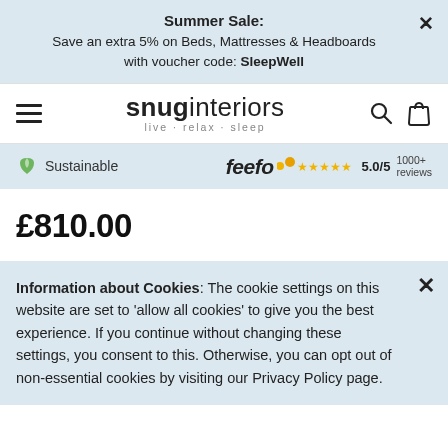Summer Sale: Save an extra 5% on Beds, Mattresses & Headboards with voucher code: SleepWell
[Figure (logo): Snug Interiors logo with tagline 'live · relax · sleep']
Sustainable   feefo 5.0/5 1000+ reviews
£810.00
Information about Cookies: The cookie settings on this website are set to 'allow all cookies' to give you the best experience. If you continue without changing these settings, you consent to this. Otherwise, you can opt out of non-essential cookies by visiting our Privacy Policy page.